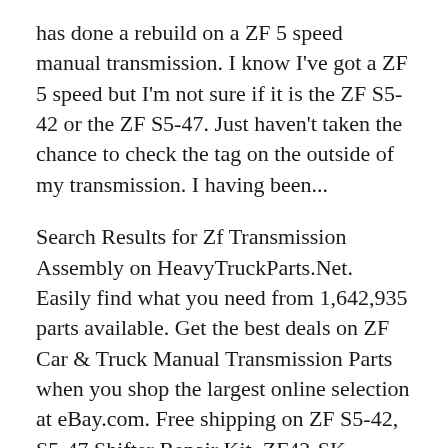has done a rebuild on a ZF 5 speed manual transmission. I know I've got a ZF 5 speed but I'm not sure if it is the ZF S5-42 or the ZF S5-47. Just haven't taken the chance to check the tag on the outside of my transmission. I having been...
Search Results for Zf Transmission Assembly on HeavyTruckParts.Net. Easily find what you need from 1,642,935 parts available. Get the best deals on ZF Car & Truck Manual Transmission Parts when you shop the largest online selection at eBay.com. Free shipping on ZF S5-42, S5-47 Shifter Repair Kit, ZF42-SK. $24.99. Brand: ZF. $5.12 shipping. Only 1 left! Watch. Zf5 Shift Tower S42/s47 Ford ZF S5-42 SHIFT FORK WITH SHIFT RAIL 1ST&2ND GEAR ZF542-23 1307-298-933